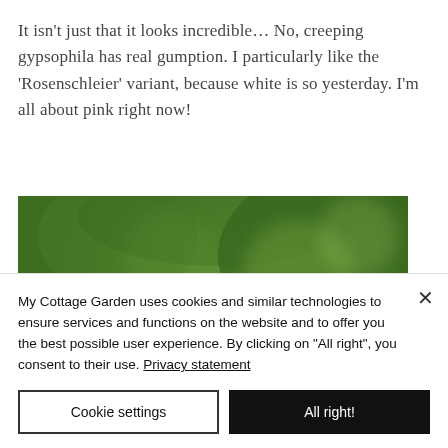It isn't just that it looks incredible… No, creeping gypsophila has real gumption. I particularly like the 'Rosenschleier' variant, because white is so yesterday. I'm all about pink right now!
[Figure (photo): Close-up photograph of creeping gypsophila flowers, soft pink and white blooms in shallow depth of field against a blurred green background.]
My Cottage Garden uses cookies and similar technologies to ensure services and functions on the website and to offer you the best possible user experience. By clicking on "All right", you consent to their use. Privacy statement